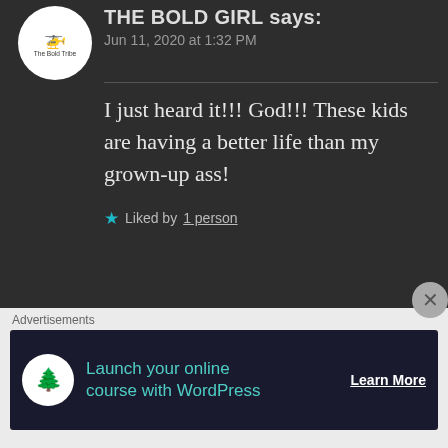THE BOLD GIRL says:
Jun 11, 2020 at 1:32 PM
I just heard it!!! God!!! These kids are having a better life than my grown-up ass!
★ Liked by 1 person
H.R PHOENIX, AUTHOR says:
Jun 11, 2020 at 1:36 PM
😂😂😂😂😂😂😂😂😂LOL!
Advertisements
Launch your online course with WordPress    Learn More